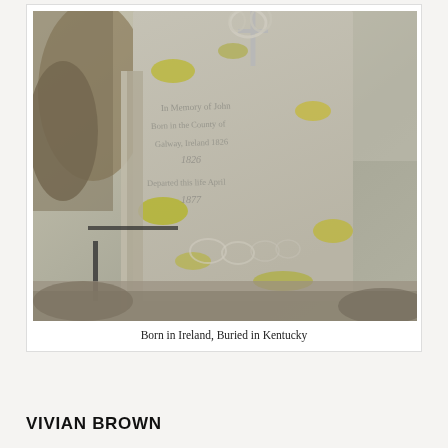[Figure (photo): A weathered stone gravestone with moss/lichen growth, partially legible inscription mentioning County Galway, Ireland, 1826, Departed 1877. Decorative ironwork cross at top and scrollwork at bottom.]
Born in Ireland, Buried in Kentucky
VIVIAN BROWN